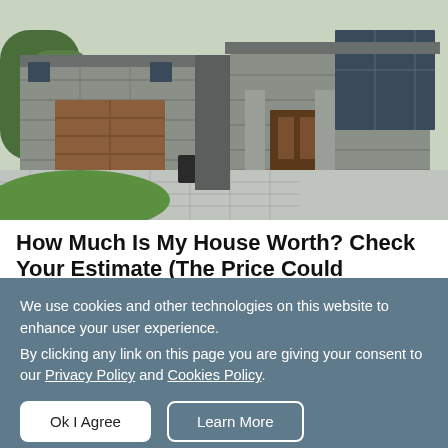[Figure (photo): Modern luxury house exterior with stone facade, wooden garage door, large windows, stone driveway pavers, and green lawn]
How Much Is My House Worth? Check Your Estimate (The Price Could Surprise You)
We use cookies and other technologies on this website to enhance your user experience.
By clicking any link on this page you are giving your consent to our Privacy Policy and Cookies Policy.
Ok I Agree   Learn More